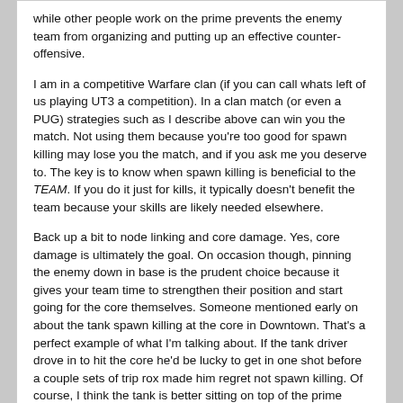while other people work on the prime prevents the enemy team from organizing and putting up an effective counter-offensive.

I am in a competitive Warfare clan (if you can call whats left of us playing UT3 a competition). In a clan match (or even a PUG) strategies such as I describe above can win you the match. Not using them because you're too good for spawn killing may lose you the match, and if you ask me you deserve to. The key is to know when spawn killing is beneficial to the TEAM. If you do it just for kills, it typically doesn't benefit the team because your skills are likely needed elsewhere.

Back up a bit to node linking and core damage. Yes, core damage is ultimately the goal. On occasion though, pinning the enemy down in base is the prudent choice because it gives your team time to strengthen their position and start going for the core themselves. Someone mentioned early on about the tank spawn killing at the core in Downtown. That's a perfect example of what I'm talking about. If the tank driver drove in to hit the core he'd be lucky to get in one shot before a couple sets of trip rox made him regret not spawn killing. Of course, I think the tank is better sitting on top of the prime making a comeback nigh impossible, but that's just me.

Here's some really great reading on this topic: (read it, it will open your eyes (don't be a scrub))
http://www.sirlin.net/Features/featu...ToWinPart1.htm
rhiridflaidd